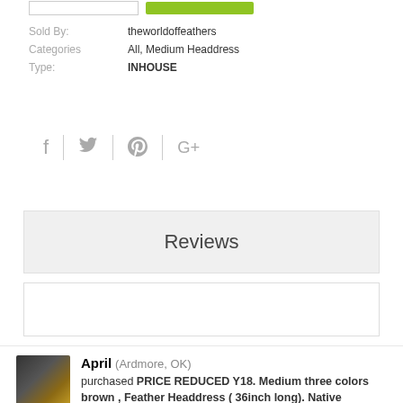[Figure (screenshot): Top bar with an input box and a green button]
Sold By: theworldoffeathers
Categories All, Medium Headdress
Type: INHOUSE
[Figure (infographic): Social share icons: Facebook (f), Twitter (bird), Pinterest (P), Google+ (G+) separated by vertical dividers]
Reviews
[Figure (screenshot): Empty write review text box]
April (Ardmore, OK) purchased PRICE REDUCED Y18. Medium three colors brown , Feather Headdress ( 36inch long). Native American Style.